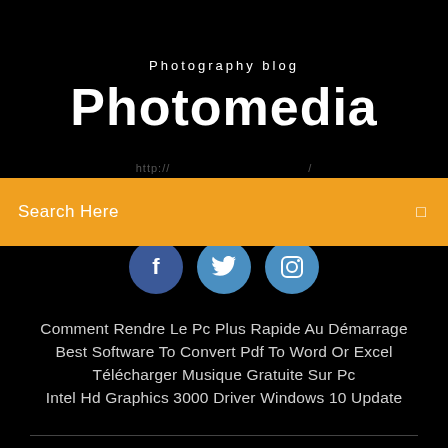Photography blog
Photomedia
Search Here
[Figure (illustration): Three social media buttons: Facebook (blue circle with f), Twitter (blue circle with bird icon), Instagram (blue circle with camera icon)]
Comment Rendre Le Pc Plus Rapide Au Démarrage
Best Software To Convert Pdf To Word Or Excel
Télécharger Musique Gratuite Sur Pc
Intel Hd Graphics 3000 Driver Windows 10 Update